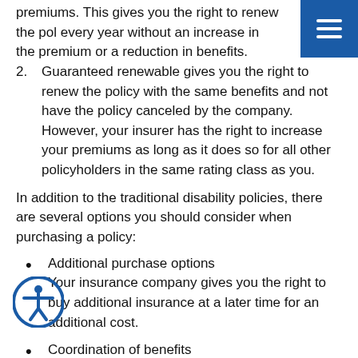premiums. This gives you the right to renew the policy every year without an increase in the premium or a reduction in benefits.
2. Guaranteed renewable gives you the right to renew the policy with the same benefits and not have the policy canceled by the company. However, your insurer has the right to increase your premiums as long as it does so for all other policyholders in the same rating class as you.
In addition to the traditional disability policies, there are several options you should consider when purchasing a policy:
Additional purchase options
Your insurance company gives you the right to buy additional insurance at a later time for an additional cost.
Coordination of benefits
The amount of benefits you receive from your insurance company is dependent on other benefits you receive because of your disability. Your policy specifies a target amount you will receive from all the